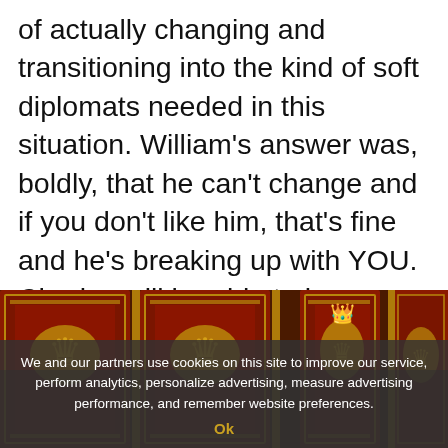Flop Tour too — William and Kate are incapable of actually changing and transitioning into the kind of soft diplomats needed in this situation. William's answer was, boldly, that he can't change and if you don't like him, that's fine and he's breaking up with YOU. Charles will be able to keep some countries in the Commonwealth… but yeah, this whole thing is a sh-tshow. It's fascinating to watch it fall apart in real time.
[Figure (photo): Close-up photograph of ornate golden royal heraldic lion emblems on a red background, appearing to be decorative panels or carvings from a royal/parliamentary setting.]
We and our partners use cookies on this site to improve our service, perform analytics, personalize advertising, measure advertising performance, and remember website preferences.